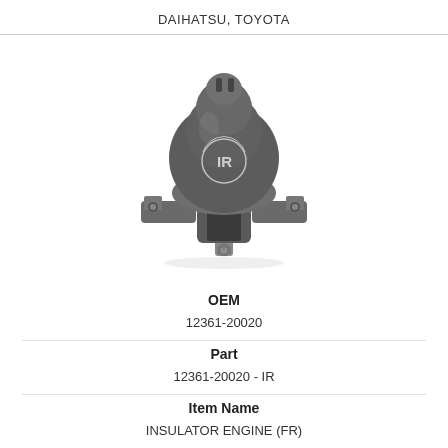DAIHATSU, TOYOTA
[Figure (photo): Engine insulator/mount part photo showing a rubber engine mount with metal bracket base and IR logo on the rubber body. The part has a rounded top section with mounting studs and a bracket base with bolt holes.]
OEM
12361-20020
Part
12361-20020 - IR
Item Name
INSULATOR ENGINE (FR)